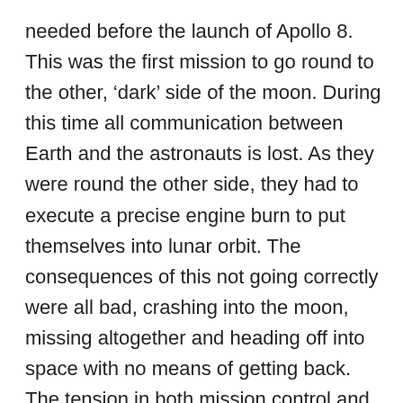needed before the launch of Apollo 8. This was the first mission to go round to the other, ‘dark’ side of the moon. During this time all communication between Earth and the astronauts is lost. As they were round the other side, they had to execute a precise engine burn to put themselves into lunar orbit. The consequences of this not going correctly were all bad, crashing into the moon, missing altogether and heading off into space with no means of getting back. The tension in both mission control and as we watched our little black and white tv in England was real. I’m not sure we even was it